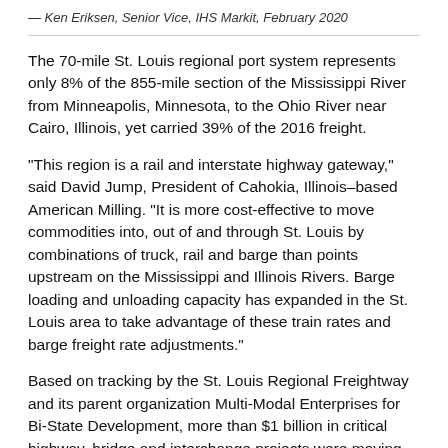— Ken Eriksen, Senior Vice, IHS Markit, February 2020
The 70-mile St. Louis regional port system represents only 8% of the 855-mile section of the Mississippi River from Minneapolis, Minnesota, to the Ohio River near Cairo, Illinois, yet carried 39% of the 2016 freight.
“This region is a rail and interstate highway gateway,” said David Jump, President of Cahokia, Illinois–based American Milling. “It is more cost-effective to move commodities into, out of and through St. Louis by combinations of truck, rail and barge than points upstream on the Mississippi and Illinois Rivers. Barge loading and unloading capacity has expanded in the St. Louis area to take advantage of these train rates and barge freight rate adjustments.”
Based on tracking by the St. Louis Regional Freightway and its parent organization Multi-Modal Enterprises for Bi-State Development, more than $1 billion in critical highway, bridge and interchange projects were moving forward at the end of 2019, all contributing to a region where the baseline infrastructure includes front-to-center financing with